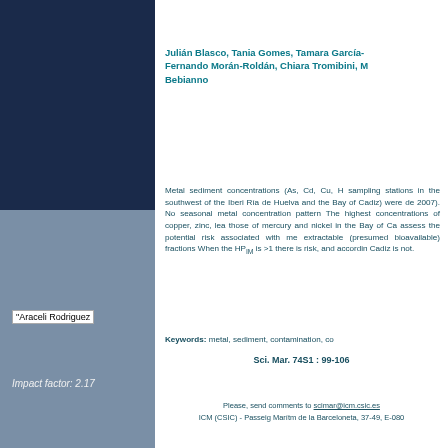Trace metal concentrations in sedim
Julián Blasco, Tania Gomes, Tamara García-, Fernando Morán-Roldán, Chiara Tromibini, M Bebianno
Metal sediment concentrations (As, Cd, Cu, H sampling stations in the southwest of the Iberi Ría de Huelva and the Bay of Cadiz) were de 2007). No seasonal metal concentration pattern The highest concentrations of copper, zinc, lea those of mercury and nickel in the Bay of Ca assess the potential risk associated with me extractable (presumed bioavailable) fractions When the HPIM is >1 there is risk, and accordin Cadiz is not.
Keywords: metal, sediment, contamination, co
"Araceli Rodriguez
Sci. Mar. 74S1 : 99-106
Impact factor: 2.17
Please, send comments to scimar@icm.csic.es
ICM (CSIC) - Passeig Marítm de la Barceloneta, 37-49, E-080